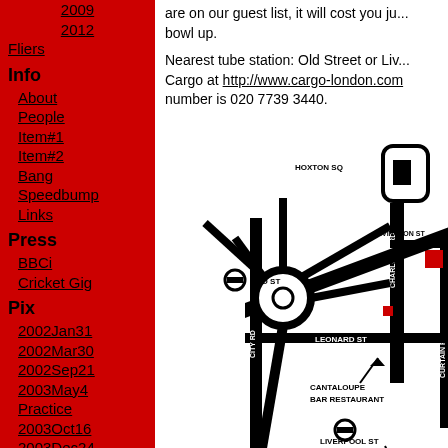2009
2012
Fliers
Info
About
People
Item#1
Item#2
Bang
Speedbump
Links
Press
BBCi
Cricket Gig
Pix
2002Jan31
2002Mar30
2002Sep21
2003May4
Practice
2003Oct16
2003Dec24
are on our guest list, it will cost you just... bowl up.
Nearest tube station: Old Street or Liv... Cargo at http://www.cargo-london.com... number is 020 7739 3440.
[Figure (map): Street map showing directions to Cargo venue near Old Street, London. Shows Hoxton Sq, Old St tube, Charlotte Rd, Great Eastern St, Rivington St, City Rd, Leonard St, Curtain Rd, Cantaloupe Bar Restaurant, Liverpool St 5 Minutes Walk. Red square marks the Cargo venue location.]